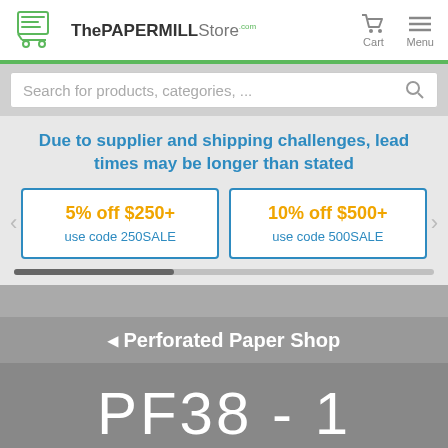ThePAPERMILLStore.com — Cart | Menu
Search for products, categories, ...
Due to supplier and shipping challenges, lead times may be longer than stated
5% off $250+ use code 250SALE
10% off $500+ use code 500SALE
◄ Perforated Paper Shop
PF38 - 1